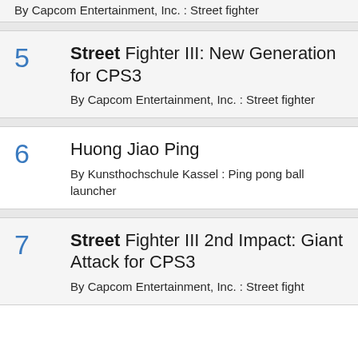By Capcom Entertainment, Inc. : Street fighter
5 Street Fighter III: New Generation for CPS3
By Capcom Entertainment, Inc. : Street fighter
6 Huong Jiao Ping
By Kunsthochschule Kassel : Ping pong ball launcher
7 Street Fighter III 2nd Impact: Giant Attack for CPS3
By Capcom Entertainment, Inc. : Street fight